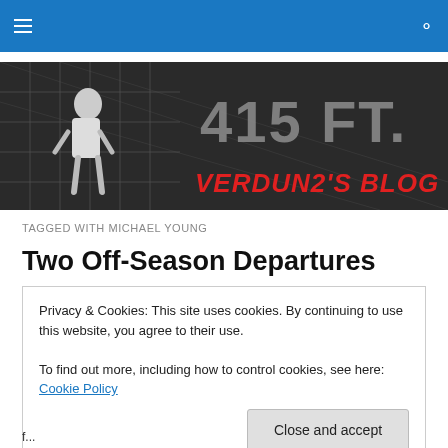Navigation bar with hamburger menu and search icon
[Figure (illustration): Black and white banner image of a baseball player near a fence with '415 FT.' text and 'Verdun2's Blog' in red stylized font]
TAGGED WITH MICHAEL YOUNG
Two Off-Season Departures
Privacy & Cookies: This site uses cookies. By continuing to use this website, you agree to their use.
To find out more, including how to control cookies, see here: Cookie Policy
Close and accept
f...